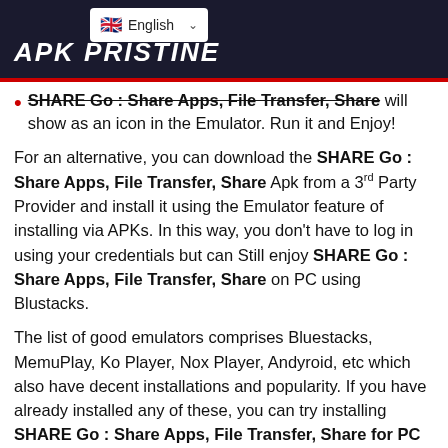APK PRISTINE
SHARE Go : Share Apps, File Transfer, Share will show as an icon in the Emulator. Run it and Enjoy!
For an alternative, you can download the SHARE Go : Share Apps, File Transfer, Share Apk from a 3rd Party Provider and install it using the Emulator feature of installing via APKs. In this way, you don't have to log in using your credentials but can Still enjoy SHARE Go : Share Apps, File Transfer, Share on PC using Blustacks.
The list of good emulators comprises Bluestacks, MemuPlay, Ko Player, Nox Player, Andyroid, etc which also have decent installations and popularity. If you have already installed any of these, you can try installing SHARE Go : Share Apps, File Transfer, Share for PC with these. However, Bluestacks and Memuplay are the fastest and recommended ones to play install SHARE Go : Share Apps, File Transfer, Share latest